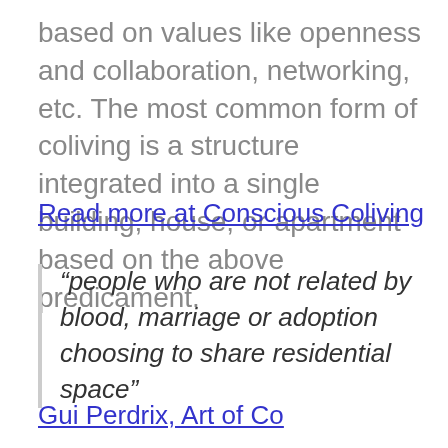based on values like openness and collaboration, networking, etc. The most common form of coliving is a structure integrated into a single building, house, or apartment based on the above predicament.
Read more at Conscious Coliving
“people who are not related by blood, marriage or adoption choosing to share residential space”
Gui Perdrix, Art of Co